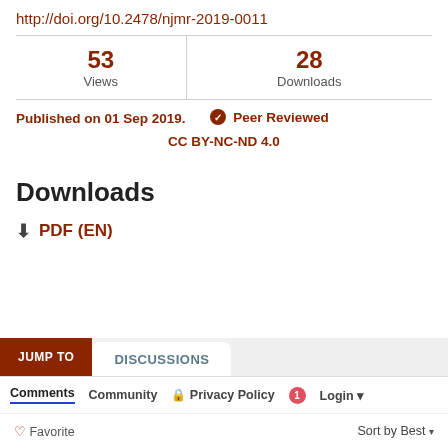http://doi.org/10.2478/njmr-2019-0011
| Views | Downloads |
| --- | --- |
| 53 | 28 |
Published on 01 Sep 2019.   ✔ Peer Reviewed
CC BY-NC-ND 4.0
Downloads
⬇ PDF (EN)
JUMP TO   DISCUSSIONS
Comments   Community   🔒 Privacy Policy   1 Login ▾
♡ Favorite   Sort by Best ▾